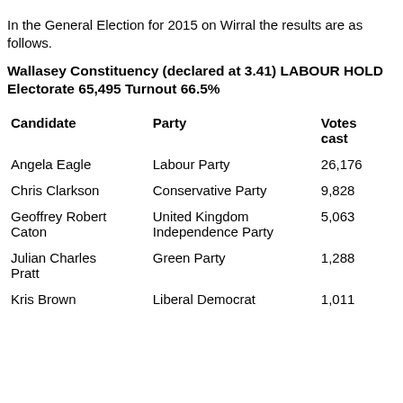In the General Election for 2015 on Wirral the results are as follows.
Wallasey Constituency (declared at 3.41) LABOUR HOLD
Electorate 65,495 Turnout 66.5%
| Candidate | Party | Votes cast |
| --- | --- | --- |
| Angela Eagle | Labour Party | 26,176 |
| Chris Clarkson | Conservative Party | 9,828 |
| Geoffrey Robert Caton | United Kingdom Independence Party | 5,063 |
| Julian Charles Pratt | Green Party | 1,288 |
| Kris Brown | Liberal Democrat | 1,011 |